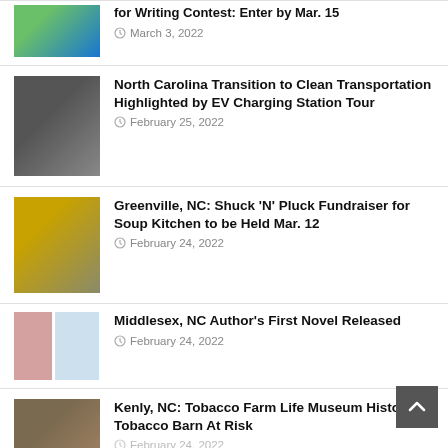[Figure (photo): Thumbnail image for writing contest article]
for Writing Contest: Enter by Mar. 15
March 3, 2022
[Figure (photo): People at an EV charging station]
North Carolina Transition to Clean Transportation Highlighted by EV Charging Station Tour
February 25, 2022
[Figure (photo): 2022 Shuck N Pluck event flyer]
Greenville, NC: Shuck ‘N’ Pluck Fundraiser for Soup Kitchen to be Held Mar. 12
February 24, 2022
[Figure (photo): Author photo and book cover for Middlesex NC author novel]
Middlesex, NC Author’s First Novel Released
February 24, 2022
[Figure (photo): Tobacco barn exterior photo]
Kenly, NC: Tobacco Farm Life Museum Historic Tobacco Barn At Risk
February 24, 2022